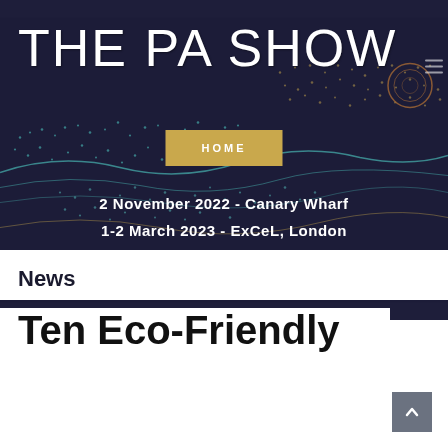[Figure (screenshot): The PA Show website header with dark navy background, decorative wave/dot pattern in teal and gold, logo 'THE PA SHOW', HOME navigation button in gold, event dates text, and News section header.]
News
Ten Eco-Friendly